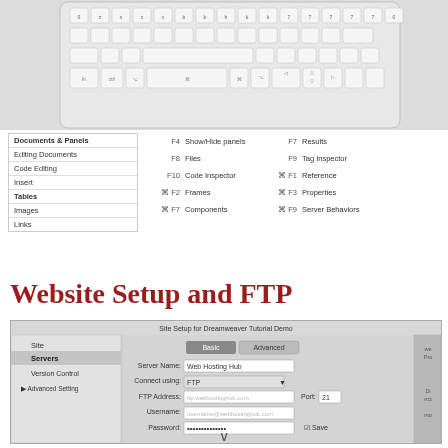[Figure (screenshot): Apple keyboard screenshot showing keyboard layout]
| Category | Key | Action | Key | Action |
| --- | --- | --- | --- | --- |
| Documents & Panels | F4 | Show/Hide panels | F7 | Results |
| Editing Documents | F8 | Files | F9 | Tag Inspector |
| Code Editing | F10 | Code Inspector | ⌘ F1 | Reference |
| Insert | ⌘ F2 | Frames | ⌘ F3 | Properties |
| Tables | ⌘ F7 | Components | ⌘ F9 | Server Behaviors |
| Images |  |  |  |  |
| Links |  |  |  |  |
Website Setup and FTP
[Figure (screenshot): Dreamweaver Site Setup dialog showing FTP configuration with fields for Server Name (Web Hosting Hub), Connect using (FTP), FTP Address, Username, and Password with Port 21]